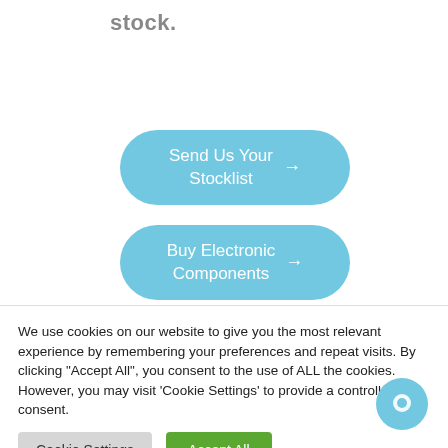stock.
Send Us Your Stocklist →
Buy Electronic Components →
We use cookies on our website to give you the most relevant experience by remembering your preferences and repeat visits. By clicking "Accept All", you consent to the use of ALL the cookies. However, you may visit 'Cookie Settings' to provide a controlled consent.
Cookie Settings
Accept All